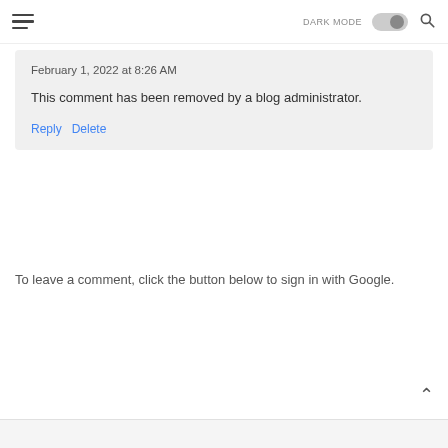DARK MODE [toggle] [search]
February 1, 2022 at 8:26 AM
This comment has been removed by a blog administrator.
Reply  Delete
To leave a comment, click the button below to sign in with Google.
SIGN IN WITH GOOGLE